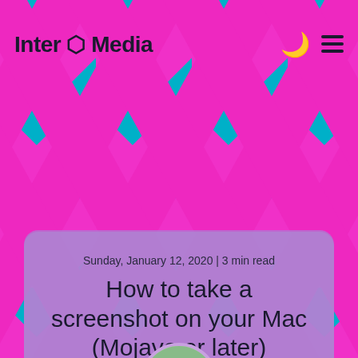[Figure (screenshot): Website screenshot of Inter Media blog. Teal and magenta trellis/lattice pattern background. Header shows 'Inter ⬡ Media' logo on left and moon + hamburger icons on right. Article card with purple translucent background shows article metadata and title.]
Inter ⬡ Media
Sunday, January 12, 2020 | 3 min read
How to take a screenshot on your Mac (Mojave or later)
Last modified on Friday, July 15, 2022